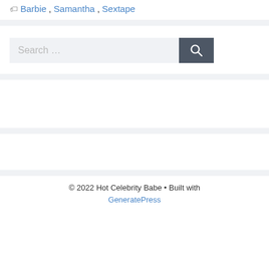🏷 Barbie, Samantha, Sextape
[Figure (other): Search bar with text input field showing 'Search ...' placeholder and a dark grey search button with magnifying glass icon]
© 2022 Hot Celebrity Babe • Built with GeneratePress